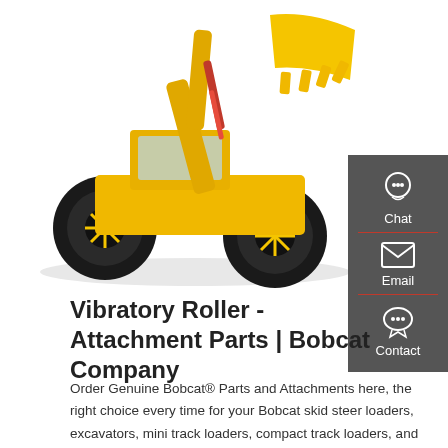[Figure (photo): Yellow large wheel loader / front loader construction machine (Bobcat) on white background, with raised bucket showing teeth.]
[Figure (infographic): Dark grey sidebar with three contact icons and labels: Chat (headset icon), Email (envelope icon), Contact (speech bubble icon), separated by red horizontal lines.]
Vibratory Roller - Attachment Parts | Bobcat Company
Order Genuine Bobcat® Parts and Attachments here, the right choice every time for your Bobcat skid steer loaders, excavators, mini track loaders, compact track loaders, and